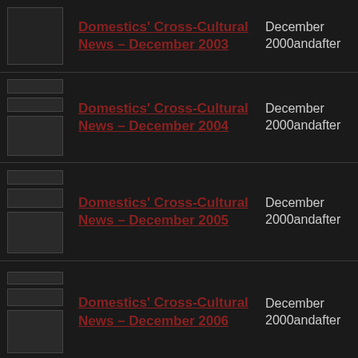[Figure (screenshot): Thumbnail of Domestics Cross-Cultural News December 2003 newsletter]
Domestics' Cross-Cultural News – December 2003
December 2000andafter
[Figure (screenshot): Thumbnail of Domestics Cross-Cultural News December 2004 newsletter]
Domestics' Cross-Cultural News – December 2004
December 2000andafter
[Figure (screenshot): Thumbnail of Domestics Cross-Cultural News December 2005 newsletter]
Domestics' Cross-Cultural News – December 2005
December 2000andafter
[Figure (screenshot): Thumbnail of Domestics Cross-Cultural News December 2006 newsletter]
Domestics' Cross-Cultural News – December 2006
December 2000andafter
[Figure (screenshot): Thumbnail of Domestics Cross-Cultural News (partial, cut off at bottom)]
Domestics' Cross-Cultural News –